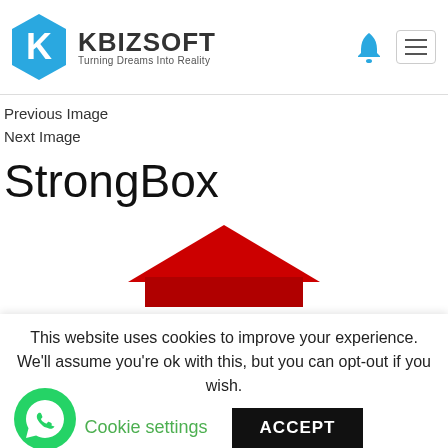[Figure (logo): KBizsoft logo with hexagonal K icon in blue and company name 'KBIZSOFT' with tagline 'Turning Dreams Into Reality']
Previous Image
Next Image
StrongBox
[Figure (illustration): Partial view of a red house/building roof shape]
This website uses cookies to improve your experience. We'll assume you're ok with this, but you can opt-out if you wish.
Cookie settings
ACCEPT